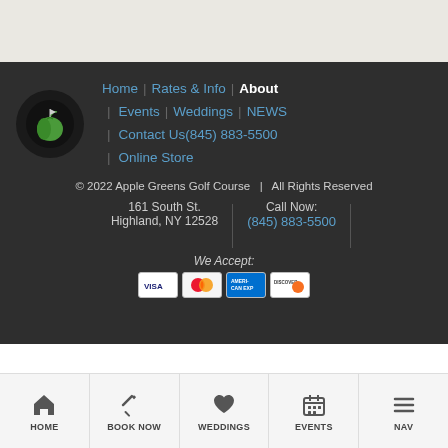[Figure (logo): Apple Greens Golf Course logo: dark circle with green apple and golf flag icon]
Home | Rates & Info | About | Events | Weddings | NEWS | Contact Us(845) 883-5500 | Online Store
© 2022 Apple Greens Golf Course  |  All Rights Reserved
161 South St.
Highland, NY 12528
Call Now:
(845) 883-5500
We Accept:
[Figure (other): Credit card payment icons: Visa, Mastercard, American Express, Discover]
HOME | BOOK NOW | WEDDINGS | EVENTS | NAV